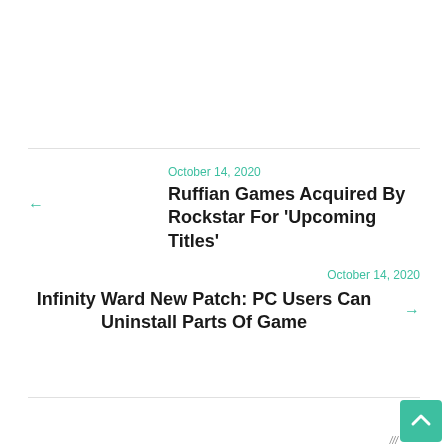October 14, 2020
Ruffian Games Acquired By Rockstar For ‘Upcoming Titles’
October 14, 2020
Infinity Ward New Patch: PC Users Can Uninstall Parts Of Game
[Figure (screenshot): Advertisement overlay with video thumbnail (Wasted - Episod... Super League Wasted) and ad banner with finger pointing graphic. Close X button, circle X dismiss button, and scroll-up arrow button visible.]